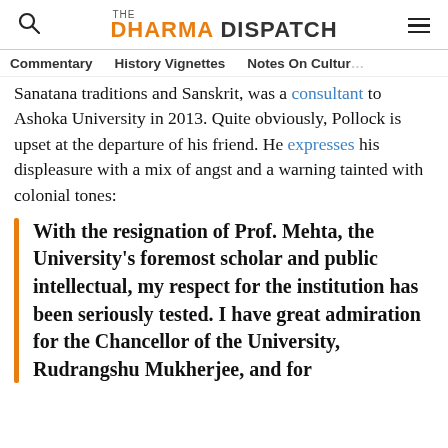THE DHARMA DISPATCH
Commentary  History Vignettes  Notes On Culture
Sanatana traditions and Sanskrit, was a consultant to Ashoka University in 2013. Quite obviously, Pollock is upset at the departure of his friend. He expresses his displeasure with a mix of angst and a warning tainted with colonial tones:
With the resignation of Prof. Mehta, the University's foremost scholar and public intellectual, my respect for the institution has been seriously tested. I have great admiration for the Chancellor of the University, Rudrangshu Mukherjee, and for